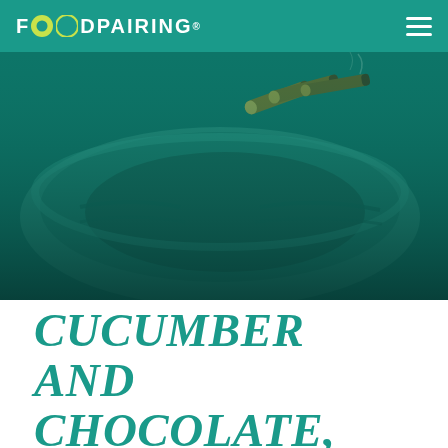FOODPAIRING®
[Figure (photo): A green-teal tinted overhead photo of an ashtray with cigars resting on the rim, showing a bowl with dark grooves. The entire image has a teal/green color overlay.]
CUCUMBER AND CHOCOLATE, REALLY ?